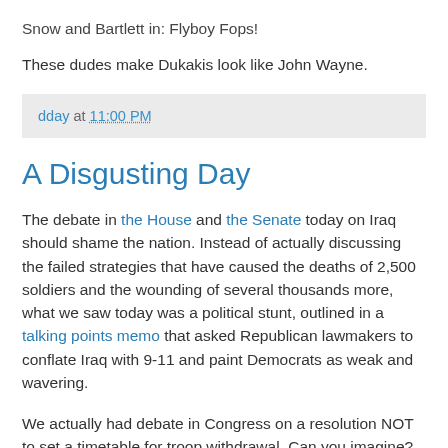Snow and Bartlett in: Flyboy Fops!
These dudes make Dukakis look like John Wayne.
dday at 11:00 PM
A Disgusting Day
The debate in the House and the Senate today on Iraq should shame the nation. Instead of actually discussing the failed strategies that have caused the deaths of 2,500 soldiers and the wounding of several thousands more, what we saw today was a political stunt, outlined in a talking points memo that asked Republican lawmakers to conflate Iraq with 9-11 and paint Democrats as weak and wavering.
We actually had debate in Congress on a resolution NOT to set a timetable for troop withdrawal. Can you imagine? What other debates to assure that things won't happen will we